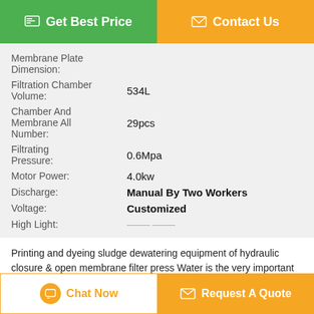[Figure (other): Top navigation buttons: green 'Get Best Price' button and orange 'Contact Us' button]
| Property | Value |
| --- | --- |
| Membrane Plate Dimension: |  |
| Filtration Chamber Volume: | 534L |
| Chamber And Membrane All Number: | 29pcs |
| Filtrating Pressure: | 0.6Mpa |
| Motor Power: | 4.0kw |
| Discharge: | Manual By Two Workers |
| Voltage: | Customized |
| High Light: |  |
Printing and dyeing sludge dewatering equipment of hydraulic closure & open membrane filter press Water is the very important resources to printing and
[Figure (other): Bottom buttons: orange-bordered 'Chat Now' button with chat bubble icon, and orange 'Request A Quote' button with mail icon]